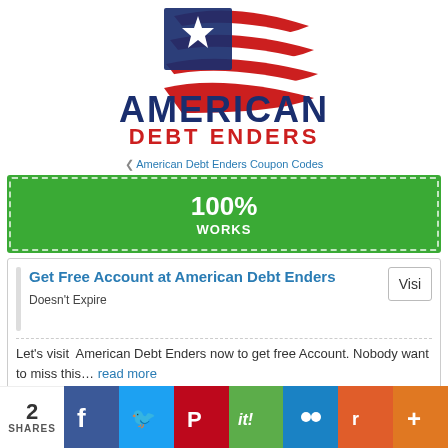[Figure (logo): American Debt Enders logo with US flag graphic and text 'AMERICAN DEBT ENDERS']
❮ American Debt Enders Coupon Codes
[Figure (infographic): Green coupon button with '100% WORKS' text inside dashed border]
Get Free Account at American Debt Enders
Doesn't Expire
Let's visit American Debt Enders now to get free Account. Nobody want to miss this… read more
2 SHARES — Social share buttons: Facebook, Twitter, Pinterest, it!, Mi, Reddit, +